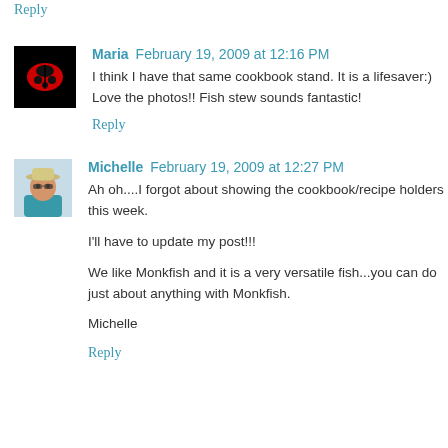Reply
Maria  February 19, 2009 at 12:16 PM
I think I have that same cookbook stand. It is a lifesaver:) Love the photos!! Fish stew sounds fantastic!
Reply
Michelle  February 19, 2009 at 12:27 PM
Ah oh....I forgot about showing the cookbook/recipe holders this week.

I'll have to update my post!!!

We like Monkfish and it is a very versatile fish...you can do just about anything with Monkfish.

Michelle
Reply